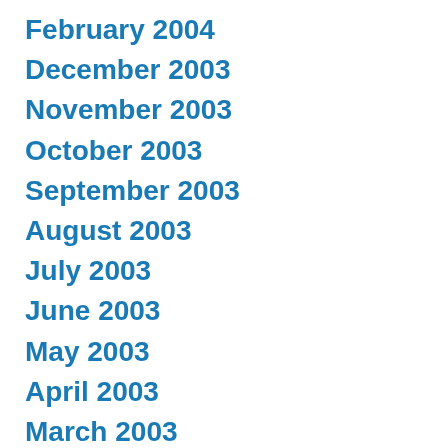February 2004
December 2003
November 2003
October 2003
September 2003
August 2003
July 2003
June 2003
May 2003
April 2003
March 2003